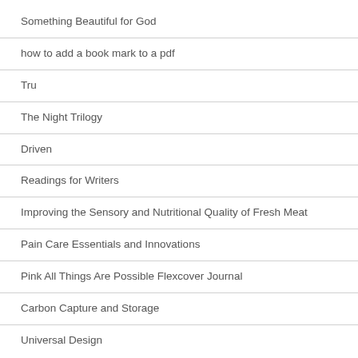Something Beautiful for God
how to add a book mark to a pdf
Tru
The Night Trilogy
Driven
Readings for Writers
Improving the Sensory and Nutritional Quality of Fresh Meat
Pain Care Essentials and Innovations
Pink All Things Are Possible Flexcover Journal
Carbon Capture and Storage
Universal Design